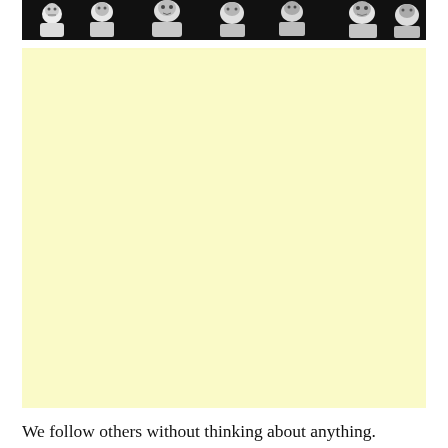[Figure (illustration): A horizontal strip showing black-and-white illustrations of multiple figures (people), rendered in a sketchy engraving style against a dark background.]
We follow others without thinking about anything.